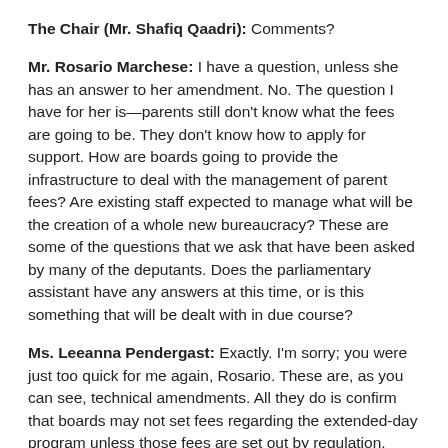The Chair (Mr. Shafiq Qaadri): Comments?
Mr. Rosario Marchese: I have a question, unless she has an answer to her amendment. No. The question I have for her is—parents still don't know what the fees are going to be. They don't know how to apply for support. How are boards going to provide the infrastructure to deal with the management of parent fees? Are existing staff expected to manage what will be the creation of a whole new bureaucracy? These are some of the questions that we ask that have been asked by many of the deputants. Does the parliamentary assistant have any answers at this time, or is this something that will be dealt with in due course?
Ms. Leeanna Pendergast: Exactly. I'm sorry; you were just too quick for me again, Rosario. These are, as you can see, technical amendments. All they do is confirm that boards may not set fees regarding the extended-day program unless those fees are set out by regulation.